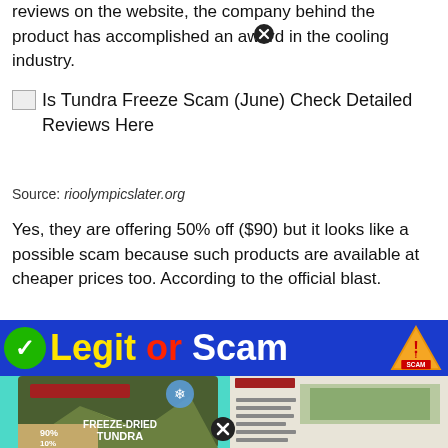reviews on the website, the company behind the product has accomplished an award in the cooling industry.
[Figure (illustration): Broken image placeholder followed by title text: Is Tundra Freeze Scam (June) Check Detailed Reviews Here]
Source: rioolympicslater.org
Yes, they are offering 50% off ($90) but it looks like a possible scam because such products are available at cheaper prices too. According to the official blast.
[Figure (infographic): Legit or Scam banner with green checkmark, yellow 'Legit', red 'or', white 'Scam', and warning triangle with SCAM text]
[Figure (photo): Orijen Freeze-Dried Tundra dog food product bag shown alongside product information panel, on teal background]